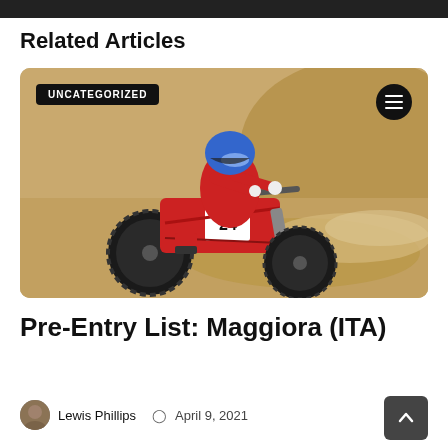[Figure (photo): Dark horizontal image strip at the top of the page]
Related Articles
[Figure (photo): Motocross rider wearing red gear and blue helmet with number 24, leaning into a sandy turn on a red dirt bike, kicking up dust. Badge reading UNCATEGORIZED in top-left corner, hamburger menu icon in top-right corner.]
Pre-Entry List: Maggiora (ITA)
Lewis Phillips  April 9, 2021